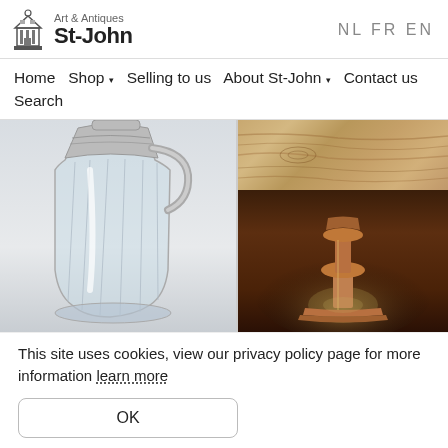Art & Antiques St-John | NL FR EN
Home  Shop ▾  Selling to us  About St-John ▾  Contact us  Search
[Figure (photo): Left: glass and silver pitcher antique. Right top: marble or wood texture closeup. Right bottom: bronze/copper candlestick on dark background.]
This site uses cookies, view our privacy policy page for more information learn more
OK